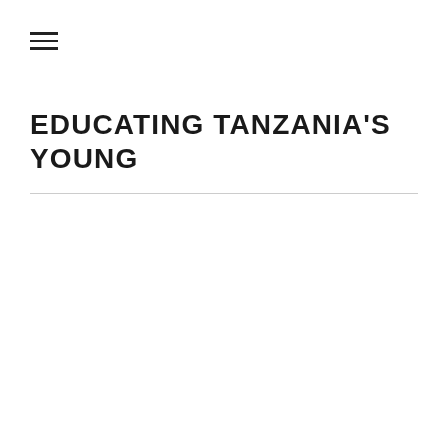[Figure (other): Hamburger menu icon (three horizontal lines)]
EDUCATING TANZANIA'S YOUNG